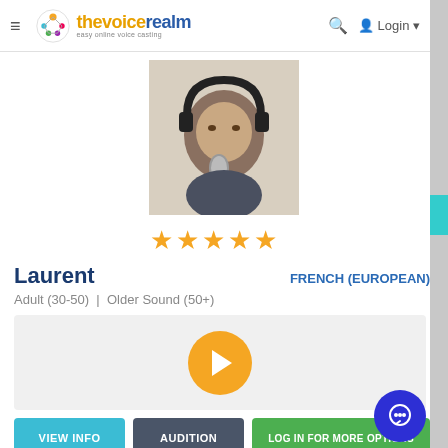thevoicerealm — easy online voice casting | Login
[Figure (photo): Profile photo of Laurent, a man wearing headphones, leaning close to a studio microphone]
★★★★★
Laurent
FRENCH (EUROPEAN)
Adult (30-50) | Older Sound (50+)
[Figure (other): Audio player with yellow play button on light grey background]
VIEW INFO
AUDITION
LOG IN FOR MORE OPTIONS